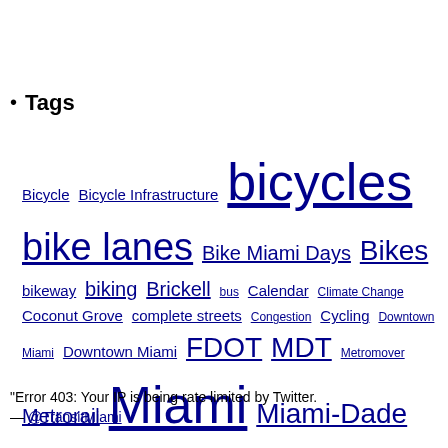Tags
Bicycle Bicycle Infrastructure bicycles bike lanes Bike Miami Days Bikes bikeway biking Brickell bus Calendar Climate Change Coconut Grove complete streets Congestion Cycling Downtown Miami Downtown Miami FDOT MDT Metromover Metrorail Miami Miami-Dade County Miami-Dade Transit Miami 21 Miami Beach Miami Dade Parking Parks Pedestrian Pedestrian Activity Pedestrians Pic o' the Day Public Transit Rickenbacker Causeway Sprawl Streetcar Traffic Transit Transit Oriented Development Transportation Tri-Rail Uncategorized Urban Planning
"Error 403: Your IP is being rate limited by Twitter.
— @TransitMiami